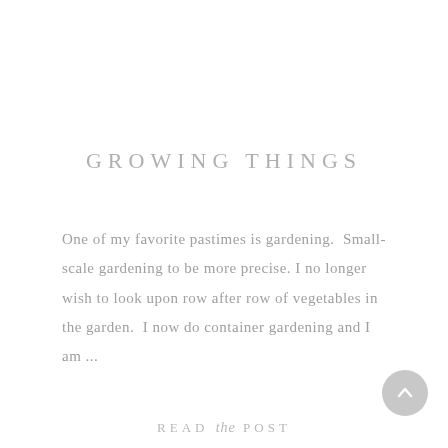GROWING THINGS
One of my favorite pastimes is gardening.  Small-scale gardening to be more precise. I no longer wish to look upon row after row of vegetables in the garden.  I now do container gardening and I am ...
READ the POST